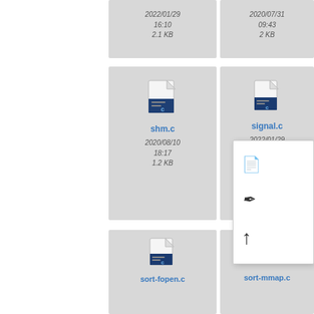[Figure (screenshot): File manager grid view showing C source files and a text file. Top partial row shows file metadata: dates 2022/01/29 16:10 / 2.1 KB, 2020/07/31 09:43 / 2 KB, 2020/07/3... 09:43 / 2.4 KB. Middle row: shm.c (2020/08/10 18:17, 1.2 KB), signal.c (2022/01/29 16:10, 955 B), signal.tx... (2008... 14... 4.x). Bottom row partial: sort-fopen.c, sort-mmap.c, testania...]